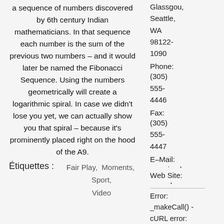a sequence of numbers discovered by 6th century Indian mathematicians. In that sequence each number is the sum of the previous two numbers – and it would later be named the Fibonacci Sequence. Using the numbers geometrically will create a logarithmic spiral. In case we didn't lose you yet, we can actually show you that spiral – because it's prominently placed right on the hood of the A9.
Glassgow, Seattle, WA 98122-1090
Phone: (305) 555-4446
Fax: (305) 555-4447
E-Mail: massivedynam...
Web Site: www.demo.m...
Étiquettes :   Fair Play,  Moments,  Sport,  Video
Error: _makeCall() - cURL error: